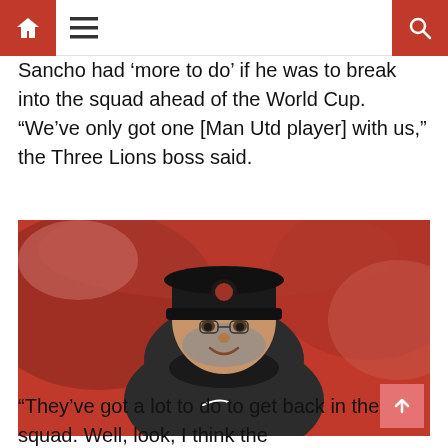Navigation bar with home, menu, and search icons
Sancho had ‘more to do’ if he was to break into the squad ahead of the World Cup. “We’ve only got one [Man Utd player] with us,” the Three Lions boss said.
[Figure (photo): A man wearing a black Liverpool FC cap and dark puffer jacket smiling, with a blurred red stadium background.]
“They’ve got a lot to do to get back in the squad. Well, look, I think the